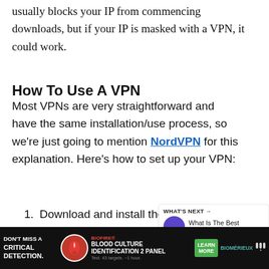usually blocks your IP from commencing downloads, but if your IP is masked with a VPN, it could work.
How To Use A VPN
Most VPNs are very straightforward and have the same installation/use process, so we're just going to mention NordVPN for this explanation. Here's how to set up your VPN:
Download and install the VPN app from the official site
[Figure (screenshot): Website UI overlay elements: heart/like button (blue circle, count 2), share button, and a 'WHAT'S NEXT' widget showing 'What Is The Best Discor...' with a purple circle thumbnail]
[Figure (infographic): Advertisement bar at bottom: 'DON'T MISS A CRITICAL DETECTION.' with BioFire Blood Culture Identification 2 Panel, Learn More button, bioMérieux logo]